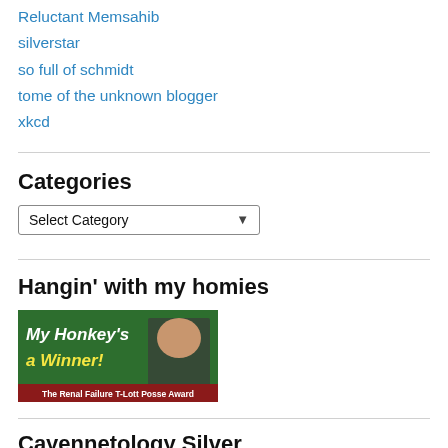Reluctant Memsahib
silverstar
so full of schmidt
tome of the unknown blogger
xkcd
Categories
Select Category
Hangin’ with my homies
[Figure (illustration): Badge image: 'My Honkey's a Winner! The Renal Failure T-Lott Posse Award' — green background with a man in a suit, bold italic white and yellow text, red banner at bottom with award text.]
Cayennetology Silver